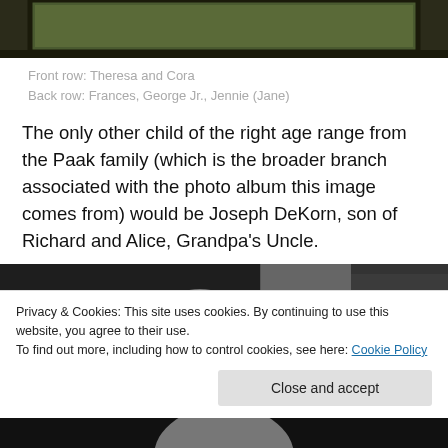[Figure (photo): Top portion of a photo showing a dark green/brown outdoor scene with a border frame, partially visible at top of page.]
Front row: Theresa and Cora
Back row: Frances, George Jr., Jennie (Jane)
The only other child of the right age range from the Paak family (which is the broader branch associated with the photo album this image comes from) would be Joseph DeKorn, son of Richard and Alice, Grandpa's Uncle.
[Figure (photo): Black and white photograph showing a person's head/face in the center section, with dark panels on either side.]
Privacy & Cookies: This site uses cookies. By continuing to use this website, you agree to their use.
To find out more, including how to control cookies, see here: Cookie Policy
[Figure (photo): Bottom partial black and white photograph, very bottom of page.]